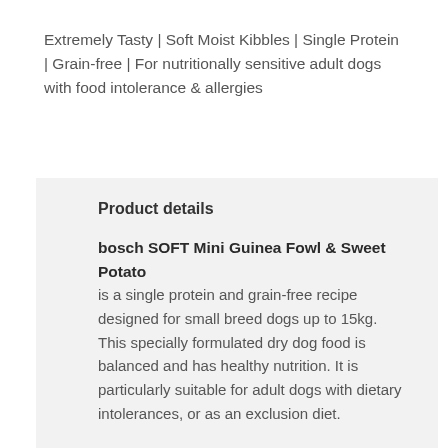Extremely Tasty | Soft Moist Kibbles | Single Protein | Grain-free | For nutritionally sensitive adult dogs with food intolerance & allergies
Product details
bosch SOFT Mini Guinea Fowl & Sweet Potato is a single protein and grain-free recipe designed for small breed dogs up to 15kg. This specially formulated dry dog food is balanced and has healthy nutrition. It is particularly suitable for adult dogs with dietary intolerances, or as an exclusion diet.
With fresh Guinea Fowl (50%) as the sole animal source of protein, bosch SOFT Mini Guinea Fowl & Sweet Potato offers your beloved dog